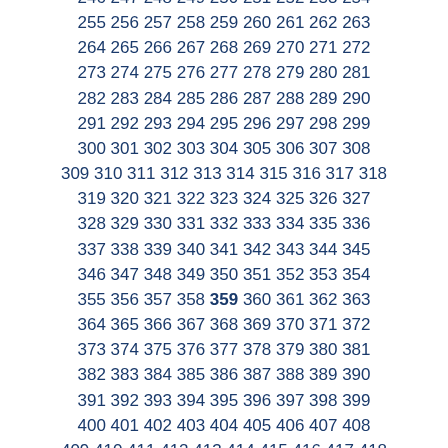237 238 239 240 241 242 243 244 245 246 247 248 249 250 251 252 253 254 255 256 257 258 259 260 261 262 263 264 265 266 267 268 269 270 271 272 273 274 275 276 277 278 279 280 281 282 283 284 285 286 287 288 289 290 291 292 293 294 295 296 297 298 299 300 301 302 303 304 305 306 307 308 309 310 311 312 313 314 315 316 317 318 319 320 321 322 323 324 325 326 327 328 329 330 331 332 333 334 335 336 337 338 339 340 341 342 343 344 345 346 347 348 349 350 351 352 353 354 355 356 357 358 359 360 361 362 363 364 365 366 367 368 369 370 371 372 373 374 375 376 377 378 379 380 381 382 383 384 385 386 387 388 389 390 391 392 393 394 395 396 397 398 399 400 401 402 403 404 405 406 407 408 409 410 411 412 413 414 415 416 417 418 419 420